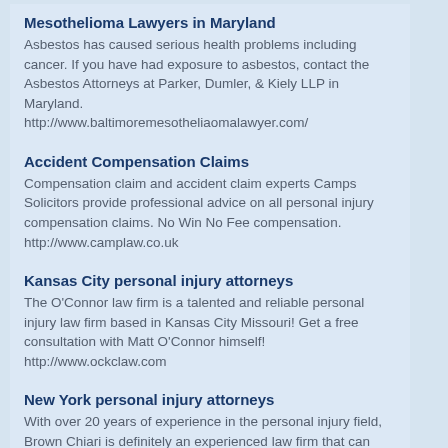Mesothelioma Lawyers in Maryland
Asbestos has caused serious health problems including cancer. If you have had exposure to asbestos, contact the Asbestos Attorneys at Parker, Dumler, & Kiely LLP in Maryland.
http://www.baltimoremesotheliaomalawyer.com/
Accident Compensation Claims
Compensation claim and accident claim experts Camps Solicitors provide professional advice on all personal injury compensation claims. No Win No Fee compensation.
http://www.camplaw.co.uk
Kansas City personal injury attorneys
The O'Connor law firm is a talented and reliable personal injury law firm based in Kansas City Missouri! Get a free consultation with Matt O'Connor himself!
http://www.ockclaw.com
New York personal injury attorneys
With over 20 years of experience in the personal injury field, Brown Chiari is definitely an experienced law firm that can help meet your needs for a variety of different cases. Including a major focus on Nursing home abuse and Food Poisoning cases.
http://www.brownchiari.com